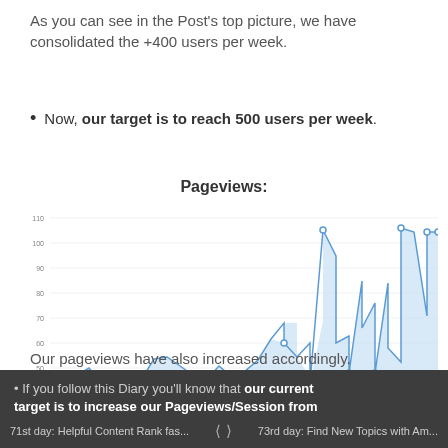As you can see in the Post's top picture, we have consolidated the +400 users per week.
Now, our target is to reach 500 users per week.
Pageviews:
[Figure (line-chart): Area line chart showing daily pageviews over time from late October through late November, with an overall upward trend peaking around 100+ pageviews on certain days.]
Our pageviews have also increased accordingly.
If you follow this Diary you'll know that our current target is to increase our Pageviews/Session from
71st day: Helpful Content Rank fas...    73rd day: Find New Topics with Am...